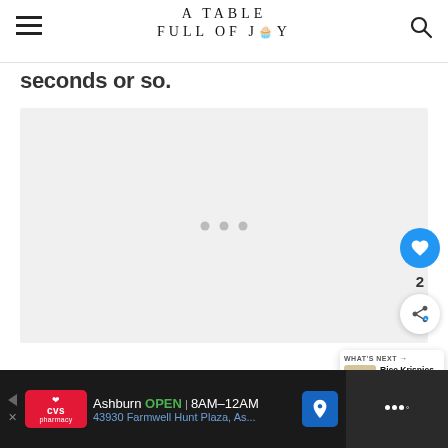A TABLE FULL OF JOY
seconds or so.
[Figure (other): Light gray content placeholder area with three small loading dots in the center]
[Figure (other): Floating blue circular heart/like button, count '2', and white circular share button on the right side]
[Figure (other): What's Next card showing Rice Krispies Treats Recipe thumbnail and text]
[Figure (other): CVS Pharmacy advertisement bar: Ashburn OPEN 8AM-12AM, 43930 Farmwell Hunt Plaza, As... with map icon and Waze logo]